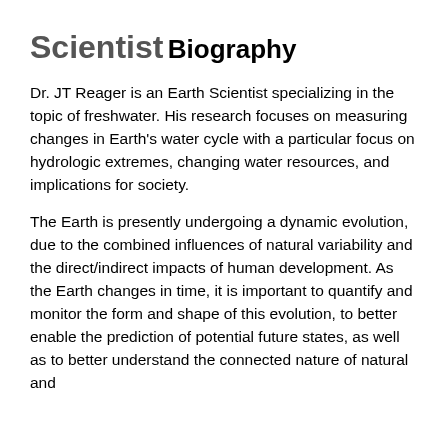Scientist
Biography
Dr. JT Reager is an Earth Scientist specializing in the topic of freshwater. His research focuses on measuring changes in Earth's water cycle with a particular focus on hydrologic extremes, changing water resources, and implications for society.
The Earth is presently undergoing a dynamic evolution, due to the combined influences of natural variability and the direct/indirect impacts of human development. As the Earth changes in time, it is important to quantify and monitor the form and shape of this evolution, to better enable the prediction of potential future states, as well as to better understand the connected nature of natural and